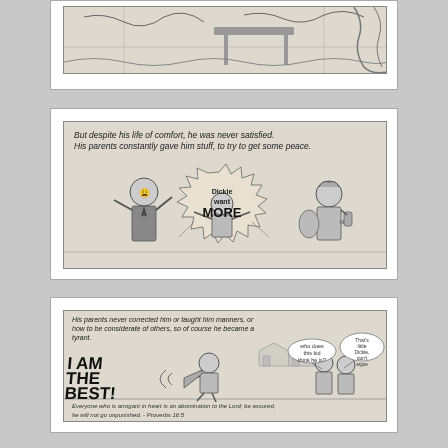[Figure (illustration): Top comic panel (partially visible): cartoon illustration showing a chaotic scene with abstract elements.]
[Figure (illustration): Comic panel 2: 'But despite his life of comfort, he was never satisfied. His parents constantly gave him stuff, to try to get some peace.' Shows a father holding his head, a child screaming 'Dickie want MORE' in a starburst, and a mother offering something.]
[Figure (illustration): Comic panel 3: 'His parents never corrected him or taught him manners, or how to be considerate of others, so of course he became a tyrant.' Shows a boy with a megaphone shouting 'I AM THE BEST!' with speech bubbles. Bottom text: 'Everyone who is arrogant in heart is an abomination to the Lord; be assured, he will not go unpunished. - Proverbs 16:5']
[Figure (illustration): Comic panel 4 (partially visible at bottom): 'Growing up, other kids tried to play with him but every time he lost at something, he would throw a tantrum' with 'I QUIT!' shown.]